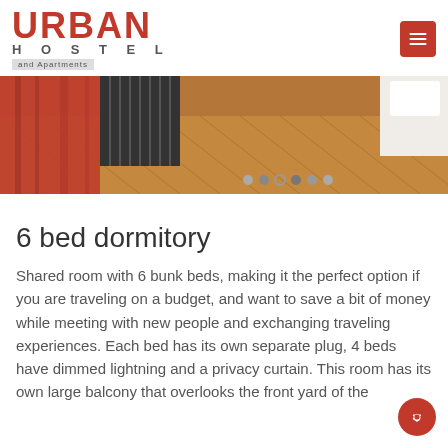[Figure (logo): Urban Hostel and Apartments logo in red with grey text]
[Figure (photo): Interior photo of dormitory room with red curtain, wooden herringbone floor, and bunk beds. Carousel dots visible at bottom.]
6 bed dormitory
Shared room with 6 bunk beds, making it the perfect option if you are traveling on a budget, and want to save a bit of money while meeting with new people and exchanging traveling experiences. Each bed has its own separate plug, 4 beds have dimmed lightning and a privacy curtain. This room has its own large balcony that overlooks the front yard of the